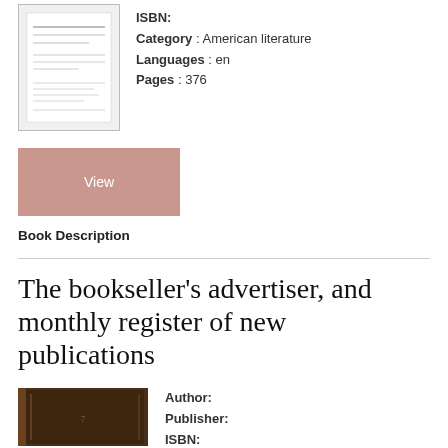[Figure (illustration): Small book cover thumbnail showing a document with text lines, grayscale]
ISBN:
Category : American literature
Languages : en
Pages : 376
View
Book Description
The bookseller's advertiser, and monthly register of new publications
[Figure (illustration): Book cover thumbnail with dark brown textured cover]
Author:
Publisher:
ISBN: